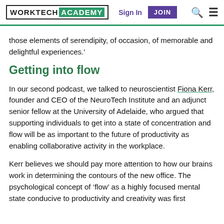WORKTECH ACADEMY | Sign In | JOIN
those elements of serendipity, of occasion, of memorable and delightful experiences.'
Getting into flow
In our second podcast, we talked to neuroscientist Fiona Kerr, founder and CEO of the NeuroTech Institute and an adjunct senior fellow at the University of Adelaide, who argued that supporting individuals to get into a state of concentration and flow will be as important to the future of productivity as enabling collaborative activity in the workplace.
Kerr believes we should pay more attention to how our brains work in determining the contours of the new office. The psychological concept of ‘flow’ as a highly focused mental state conducive to productivity and creativity was first